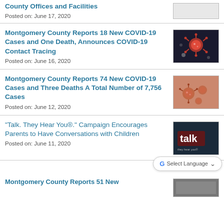County Offices and Facilities
Posted on: June 17, 2020
Montgomery County Reports 18 New COVID-19 Cases and One Death, Announces COVID-19 Contact Tracing
Posted on: June 16, 2020
Montgomery County Reports 74 New COVID-19 Cases and Three Deaths A Total Number of 7,756 Cases
Posted on: June 12, 2020
"Talk. They Hear You®." Campaign Encourages Parents to Have Conversations with Children
Posted on: June 11, 2020
Montgomery County Reports 51 New...